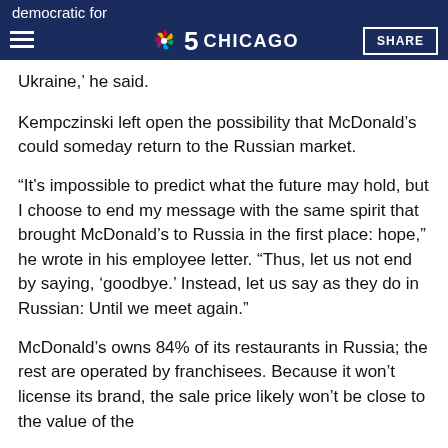democratic forces… this atrocio… Ukraine, he said. [NBC 5 Chicago header with SHARE button]
Ukraine,' he said.
Kempczinski left open the possibility that McDonald's could someday return to the Russian market.
“It’s impossible to predict what the future may hold, but I choose to end my message with the same spirit that brought McDonald’s to Russia in the first place: hope,” he wrote in his employee letter. “Thus, let us not end by saying, ‘goodbye.’ Instead, let us say as they do in Russian: Until we meet again.”
McDonald’s owns 84% of its restaurants in Russia; the rest are operated by franchisees. Because it won’t license its brand, the sale price likely won’t be close to the value of the